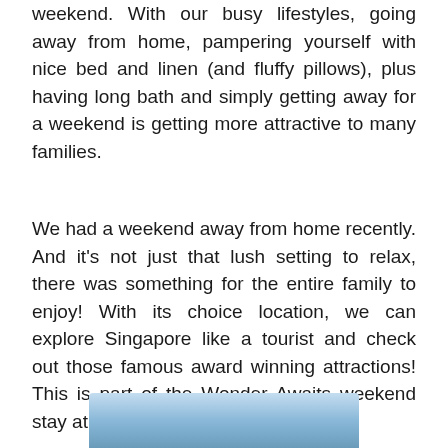weekend. With our busy lifestyles, going away from home, pampering yourself with nice bed and linen (and fluffy pillows), plus having long bath and simply getting away for a weekend is getting more attractive to many families.
We had a weekend away from home recently. And it's not just that lush setting to relax, there was something for the entire family to enjoy! With its choice location, we can explore Singapore like a tourist and check out those famous award winning attractions! This is part of the Wonder Awaits weekend stay at Westin Singapore.
[Figure (photo): Partial view of an image at the bottom of the page, showing a blue sky or outdoor scene, partially cropped.]